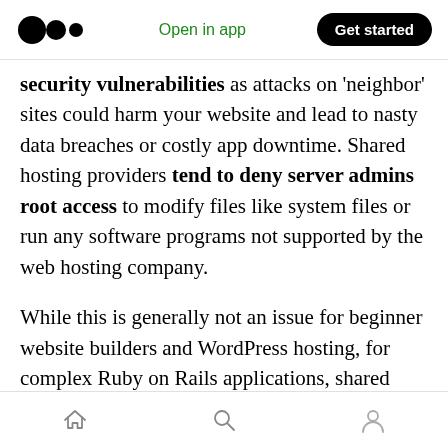Medium logo | Open in app | Get started
security vulnerabilities as attacks on ‘neighbor’ sites could harm your website and lead to nasty data breaches or costly app downtime. Shared hosting providers tend to deny server admins root access to modify files like system files or run any software programs not supported by the web hosting company.
While this is generally not an issue for beginner website builders and WordPress hosting, for complex Ruby on Rails applications, shared hosting can be too limited. However, shared
Home | Search | Profile